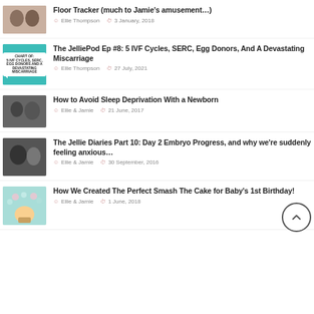Floor Tracker (much to Jamie's amusement…)
Ellie Thompson | 3 January, 2018
The JelliePod Ep #8: 5 IVF Cycles, SERC, Egg Donors, And A Devastating Miscarriage
Ellie Thompson | 27 July, 2021
How to Avoid Sleep Deprivation With a Newborn
Ellie & Jamie | 21 June, 2017
The Jellie Diaries Part 10: Day 2 Embryo Progress, and why we're suddenly feeling anxious…
Ellie & Jamie | 30 September, 2016
How We Created The Perfect Smash The Cake for Baby's 1st Birthday!
Ellie & Jamie | 1 June, 2018